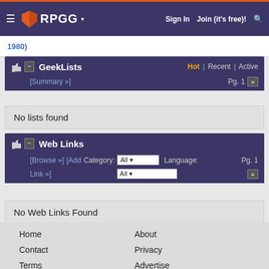≡ RPGG ▾   Sign In   Join (it's free)!   🔍
1980)
GeekLists   Hot | Recent | Active   [Summary »]   Pg. 1
No lists found
Web Links   [Browse »] [Add Link »]   Category: All   Language: All   Pg. 1
No Web Links Found
Home   About   Contact   Privacy   Terms   Advertise   Support BGG   Geekdo, BoardGameGeek, the Geekdo logo, and the BoardGameGeek logo are trademarks of BoardGameGeek, LLC.